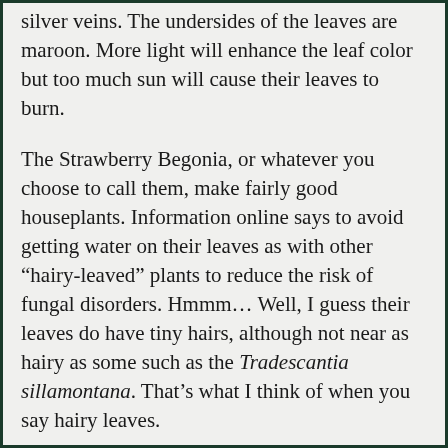silver veins. The undersides of the leaves are maroon. More light will enhance the leaf color but too much sun will cause their leaves to burn.
The Strawberry Begonia, or whatever you choose to call them, make fairly good houseplants. Information online says to avoid getting water on their leaves as with other “hairy-leaved” plants to reduce the risk of fungal disorders. Hmmm… Well, I guess their leaves do have tiny hairs, although not near as hairy as some such as the Tradescantia sillamontana. That’s what I think of when you say hairy leaves.